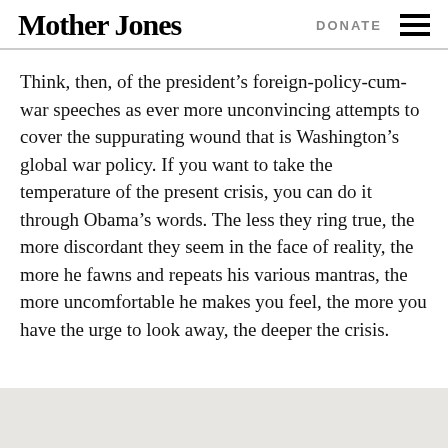Mother Jones | DONATE
Think, then, of the president's foreign-policy-cum-war speeches as ever more unconvincing attempts to cover the suppurating wound that is Washington's global war policy. If you want to take the temperature of the present crisis, you can do it through Obama's words. The less they ring true, the more discordant they seem in the face of reality, the more he fawns and repeats his various mantras, the more uncomfortable he makes you feel, the more you have the urge to look away, the deeper the crisis.